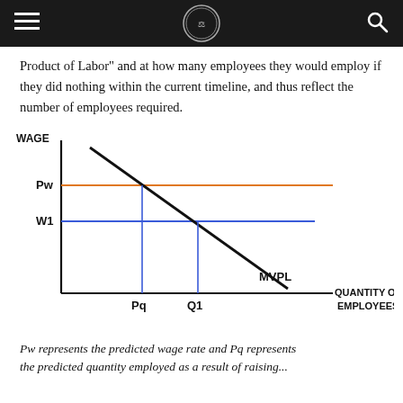[Navigation header with hamburger menu, logo, and search icon]
Product of Labor" and at how many employees they would employ if they did nothing within the current timeline, and thus reflect the number of employees required.
[Figure (continuous-plot): Economics diagram showing WAGE on y-axis and QUANTITY OF EMPLOYEES on x-axis. A downward-sloping black line labeled MVPL crosses two horizontal lines: an orange line at wage level Pw and a blue line at wage level W1. Vertical blue lines drop from the intersections to x-axis points Pq and Q1 respectively.]
Pw represents the predicted wage rate and Pq represents the predicted quantity employed as a result of raising...